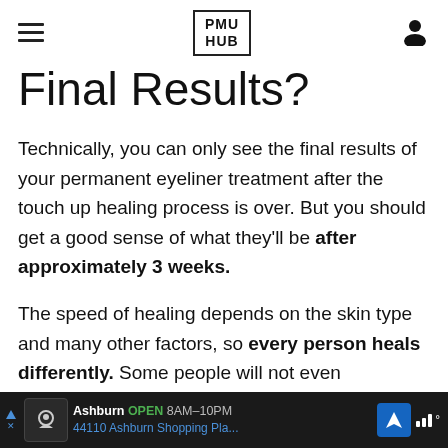PMU HUB
Final Results?
Technically, you can only see the final results of your permanent eyeliner treatment after the touch up healing process is over. But you should get a good sense of what they'll be after approximately 3 weeks.
The speed of healing depends on the skin type and many other factors, so every person heals differently. Some people will not even experience
[Figure (other): Mobile advertisement bar at bottom: Ashburn OPEN 8AM-10PM, 44110 Ashburn Shopping Pla..., with navigation icon and weather bars icon]